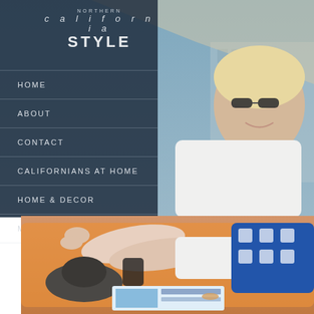[Figure (photo): Background photo of a smiling blonde woman wearing sunglasses outdoors, possibly at a pool or resort, with blue sky and building in background. A semi-transparent dark navy overlay panel on the left covers navigation menu area.]
NORTHERN california STYLE
HOME
ABOUT
CONTACT
CALIFORNIANS AT HOME
HOME & DECOR
MY CALIFORNIA CLOSET
[Figure (photo): Photo of a woman lounging on an orange beach chair/lounger, wearing white shorts and a blue and white patterned top, with a hat and bag, reading a magazine. Her legs are extended toward the camera.]